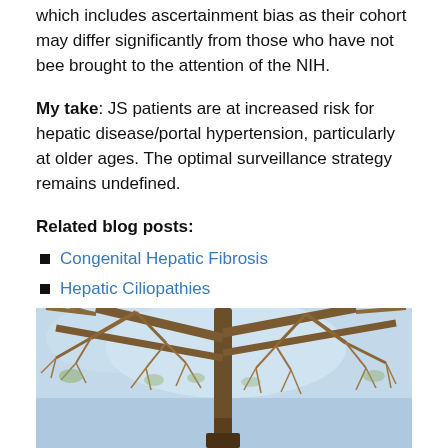which includes ascertainment bias as their cohort may differ significantly from those who have not bee brought to the attention of the NIH.
My take: JS patients are at increased risk for hepatic disease/portal hypertension, particularly at older ages. The optimal surveillance strategy remains undefined.
Related blog posts:
Congenital Hepatic Fibrosis
Hepatic Ciliopathies
[Figure (photo): Outdoor photograph looking up at bare tree branches against a blue sky, taken in winter or early spring.]